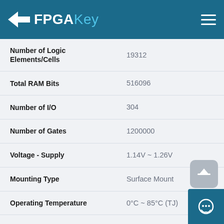FPGAKey
| Property | Value |
| --- | --- |
| Number of Logic Elements/Cells | 19312 |
| Total RAM Bits | 516096 |
| Number of I/O | 304 |
| Number of Gates | 1200000 |
| Voltage - Supply | 1.14V ~ 1.26V |
| Mounting Type | Surface Mount |
| Operating Temperature | 0°C ~ 85°C (TJ) |
| Package / Case | 400-BGA |
| Supplier Device Package | 400-FBGA (21x |